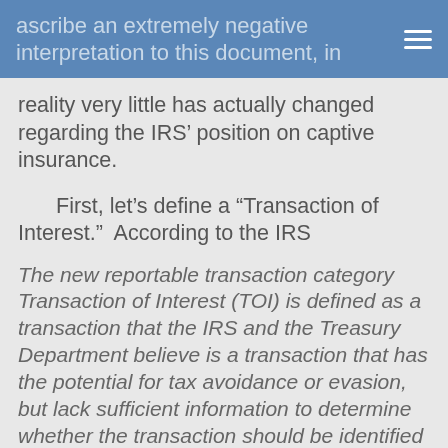ascribe an extremely negative interpretation to this document, in
reality very little has actually changed regarding the IRS’ position on captive insurance.
First, let’s define a “Transaction of Interest.”  According to the IRS
The new reportable transaction category Transaction of Interest (TOI) is defined as a transaction that the IRS and the Treasury Department believe is a transaction that has the potential for tax avoidance or evasion, but lack sufficient information to determine whether the transaction should be identified